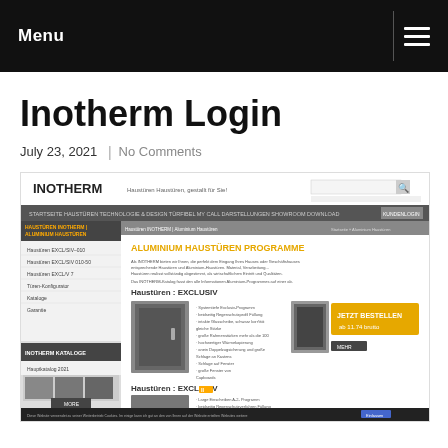Menu
Inotherm Login
July 23, 2021  |  No Comments
[Figure (screenshot): Screenshot of the Inotherm website showing the Aluminium Haustüren (Aluminium front doors) product page with navigation menu, product listings including EXCLUSIV range, product images, catalog section, and a cookie consent bar at the bottom.]